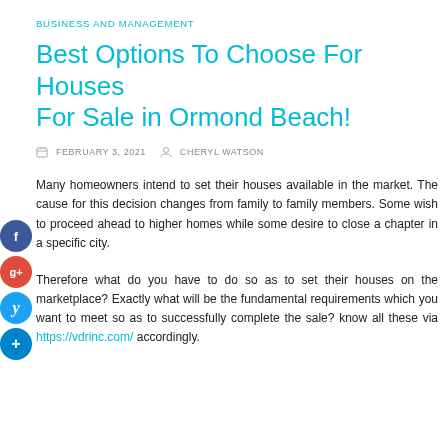BUSINESS AND MANAGEMENT
Best Options To Choose For Houses For Sale in Ormond Beach!
FEBRUARY 3, 2021   CHERYL WATSON
Many homeowners intend to set their houses available in the market. The cause for this decision changes from family to family members. Some wish to proceed ahead to higher homes while some desire to close a chapter in a specific city.
Therefore what do you have to do so as to set their houses on the marketplace? Exactly what will be the fundamental requirements which you want to meet so as to successfully complete the sale? know all these via https://vdrinc.com/ accordingly.